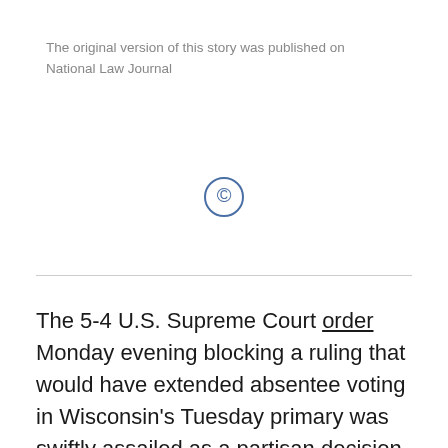The original version of this story was published on National Law Journal
[Figure (other): Copyright symbol (©) in blue circle]
The 5-4 U.S. Supreme Court order Monday evening blocking a ruling that would have extended absentee voting in Wisconsin's Tuesday primary was swiftly assailed as a partisan decision that forces residents to choose between efforts to safeguard their lives amid the virus pandemic and the ability to